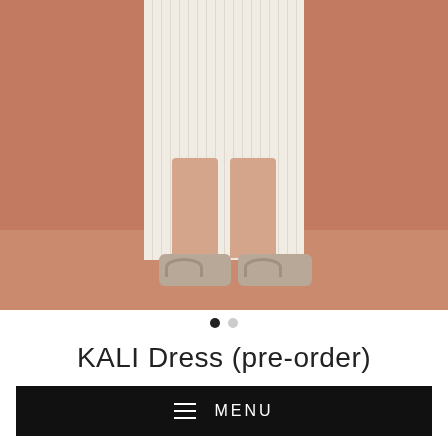[Figure (photo): Fashion product photo showing lower body of a person wearing a cream/off-white cable-knit dress and taupe/beige slide sandals, against a terracotta/rust orange background.]
● •
KALI Dress (pre-order)
≡  MENU
Size